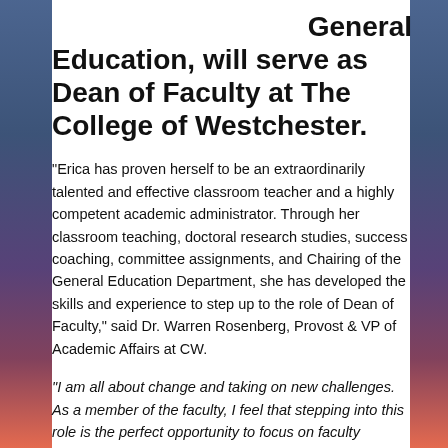General Education, will serve as Dean of Faculty at The College of Westchester.
“Erica has proven herself to be an extraordinarily talented and effective classroom teacher and a highly competent academic administrator. Through her classroom teaching, doctoral research studies, success coaching, committee assignments, and Chairing of the General Education Department, she has developed the skills and experience to step up to the role of Dean of Faculty,” said Dr. Warren Rosenberg, Provost & VP of Academic Affairs at CW.
“I am all about change and taking on new challenges. As a member of the faculty, I feel that stepping into this role is the perfect opportunity to focus on faculty development and growth. The long-term goal is always to see the success and growth of our students, so if I can help pave the way and share my experiences and lessons from the classroom with others, it is a win-win,” said Dr. Schacht.